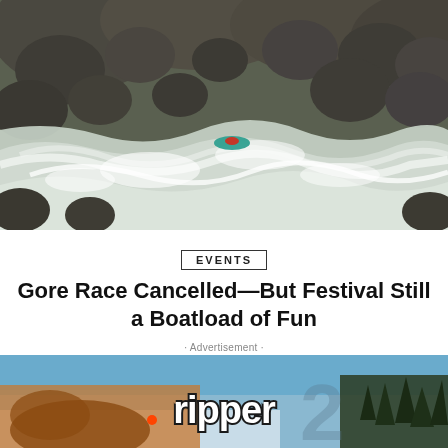[Figure (photo): A kayaker navigating turbulent whitewater rapids surrounded by large rocks and boulders]
EVENTS
Gore Race Cancelled—But Festival Still a Boatload of Fun
Darn insurance companies. This year's Gore Fest race, Colorado's marquee...
EUGENE BUCHANAN
[Figure (photo): Advertisement banner showing 'ripper' branding with outdoor scenic background]
· Advertisement ·